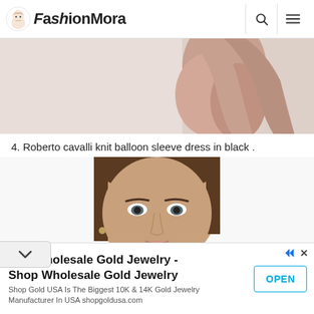FashionMora
[Figure (photo): Partial view of a fashion model's torso/legs against a light background]
4. Roberto cavalli knit balloon sleeve dress in black .
[Figure (photo): Close-up photo of a female model's face with dark hair pulled back, wearing a dark garment]
Buy Wholesale Gold Jewelry - Shop Wholesale Gold Jewelry
Shop Gold USA Is The Biggest 10K & 14K Gold Jewelry Manufacturer In USA shopgoldusa.com